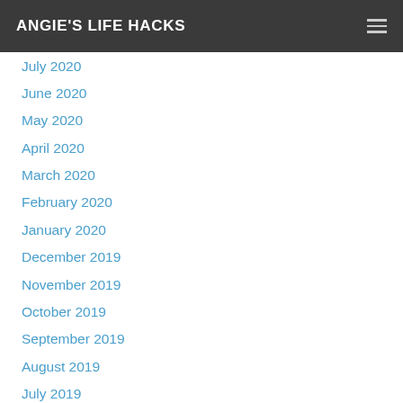ANGIE'S LIFE HACKS
July 2020
June 2020
May 2020
April 2020
March 2020
February 2020
January 2020
December 2019
November 2019
October 2019
September 2019
August 2019
July 2019
June 2019
May 2019
April 2019
March 2019